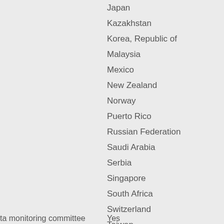Japan
Kazakhstan
Korea, Republic of
Malaysia
Mexico
New Zealand
Norway
Puerto Rico
Russian Federation
Saudi Arabia
Serbia
Singapore
South Africa
Switzerland
Taiwan
Ukraine
United States
ta monitoring committee
Yes